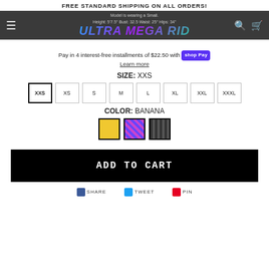FREE STANDARD SHIPPING ON ALL ORDERS!
Model is wearing a Small. Height: 5'7.5" Bust: 32.5 Waist: 25" Hips: 34"
Pay in 4 interest-free installments of $22.50 with shop Pay
Learn more
SIZE: XXS
XXS
XS
S
M
L
XL
XXL
XXXL
COLOR: BANANA
[Figure (other): Three color swatches: yellow (BANANA), purple/holographic, black textured]
ADD TO CART
SHARE  TWEET  PIN